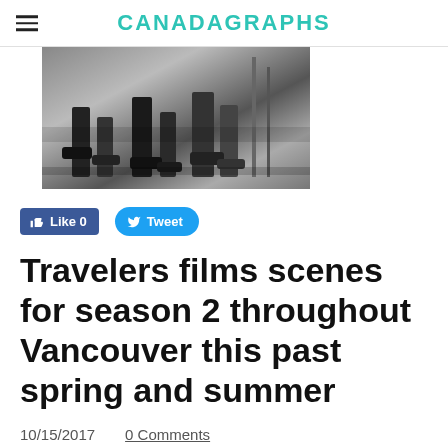CANADAGRAPHS
[Figure (photo): Black and white photo showing people's legs and feet on a street, film crew equipment visible]
[Figure (infographic): Facebook Like button showing 'Like 0' and Twitter Tweet button]
Travelers films scenes for season 2 throughout Vancouver this past spring and summer
10/15/2017    0 Comments